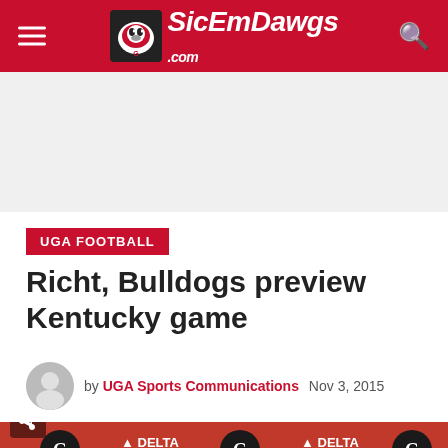SicEmDawgs.com
UGA FOOTBALL
Richt, Bulldogs preview Kentucky game
by UGA Sports Communications  Nov 3, 2015
[Figure (photo): Press conference photo with UGA Bulldogs and Delta sponsor banners in background, coach seated at table]